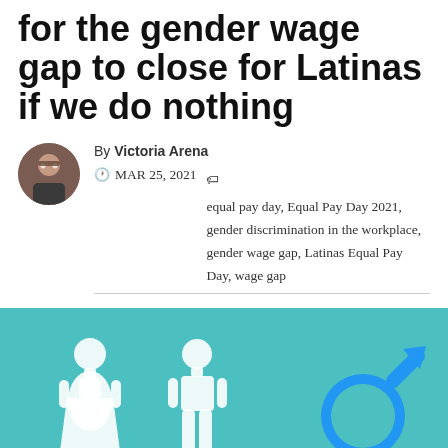for the gender wage gap to close for Latinas if we do nothing
By Victoria Arena
MAR 25, 2021  equal pay day, Equal Pay Day 2021, gender discrimination in the workplace, gender wage gap, Latinas Equal Pay Day, wage gap
[Figure (illustration): Teal/turquoise background with white gender silhouette icons: female figure on left, male figure in center, and a blue male gender symbol on the right]